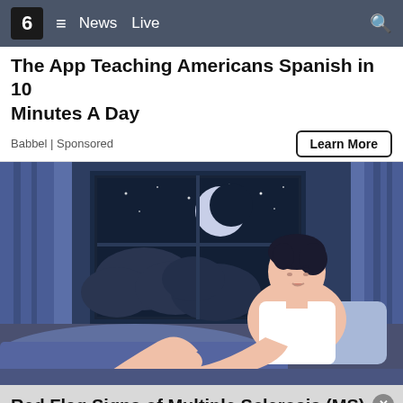6 ≡ News Live 🔍
The App Teaching Americans Spanish in 10 Minutes A Day
Babbel | Sponsored
[Figure (illustration): Illustration of a man sitting up in bed at night, with a window showing a crescent moon and stars, blue curtains in the background. The man is wearing a white tank top and appears awake and distressed, with his leg raised.]
Red Flag Signs of Multiple Sclerosis (MS) Many May Not Be Aware Of